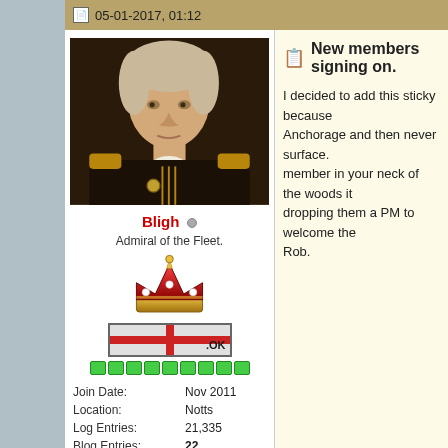05-01-2017, 01:12
[Figure (photo): Portrait painting of a naval officer in dark uniform with gold epaulettes]
Bligh
Admiral of the Fleet.
[Figure (illustration): Crown icon — red and gold royal crown]
[Figure (illustration): Flag badge with red cross on grey background with .OK text]
[Figure (illustration): Green reputation pip bar with 9 green squares]
| Join Date: | Nov 2011 |
| Location: | Notts |
| Log Entries: | 21,335 |
| Blog Entries: | 22 |
| Name: | Rob |
[Figure (illustration): Row of military medals/decorations]
New members signing on.
I decided to add this sticky because Anchorage and then never surface. member in your neck of the woods it dropping them a PM to welcome the Rob.